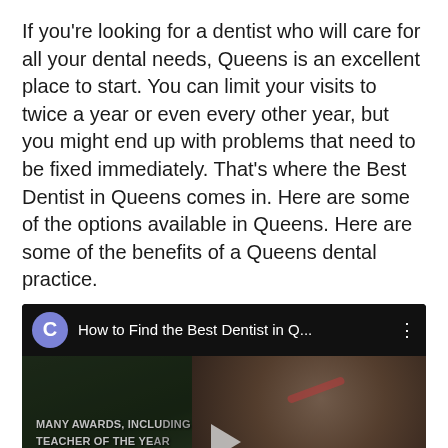If you're looking for a dentist who will care for all your dental needs, Queens is an excellent place to start. You can limit your visits to twice a year or even every other year, but you might end up with problems that need to be fixed immediately. That's where the Best Dentist in Queens comes in. Here are some of the options available in Queens. Here are some of the benefits of a Queens dental practice.
[Figure (screenshot): YouTube video embed showing 'How to Find the Best Dentist in Q...' with a channel icon (C), three-dot menu, and a thumbnail showing a person being examined by a dentist with gloved hands, with overlaid text reading 'MANY AWARDS, INCLUDING TEACHER OF THE YEAR FROM THE NORTH S... DENTAL RESIDENTS I...' and a play button.]